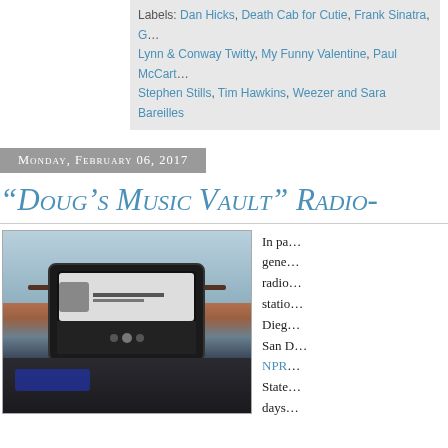Labels: Dan Hicks, Death Cab for Cutie, Frank Sinatra, G... Lynn & Conway Twitty, My Funny Valentine, Paul McCart... Stephen Stills, Tim Hawkins, Weezer and Sara Bareilles
Monday, February 06, 2017
"Doug's Music Vault" Radio-
[Figure (photo): Photo of a smartphone mounted on a car dashboard/windshield mount, displaying a music player app showing 'The Best of My Love' by Eagles. The car interior and a wooden fence are visible in the background.]
In pa... gene... radio... statio... Dieg... San D... NPR... State... days...